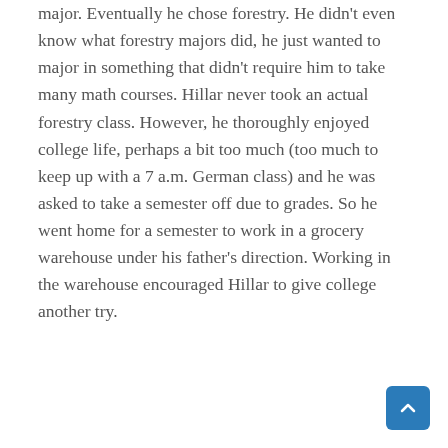major. Eventually he chose forestry. He didn't even know what forestry majors did, he just wanted to major in something that didn't require him to take many math courses. Hillar never took an actual forestry class. However, he thoroughly enjoyed college life, perhaps a bit too much (too much to keep up with a 7 a.m. German class) and he was asked to take a semester off due to grades. So he went home for a semester to work in a grocery warehouse under his father's direction. Working in the warehouse encouraged Hillar to give college another try.